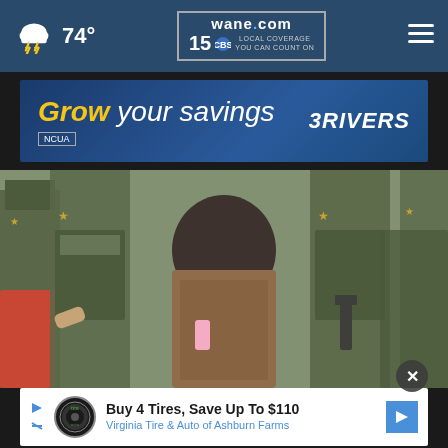74° | wane.com 15 LOCAL COVERAGE YOU CAN COUNT ON
[Figure (advertisement): 3Rivers Federal Credit Union ad: 'Grow your savings' with NCUA badge]
[Figure (photo): People embracing in front of law enforcement officers in tactical gear]
[Figure (advertisement): Virginia Tire & Auto of Ashburn Farms: Buy 4 Tires, Save Up To $110]